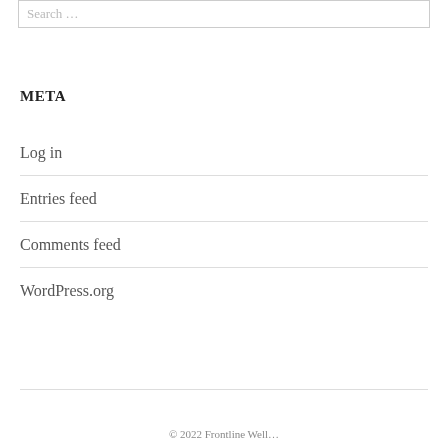Search ...
META
Log in
Entries feed
Comments feed
WordPress.org
© 2022 Frontline Well...